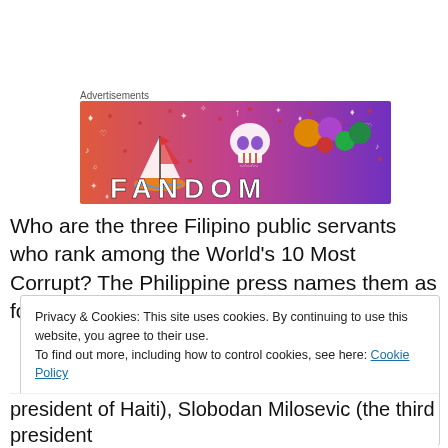[Figure (other): Fandom advertisement banner with colorful gradient background (orange to purple) featuring a sailboat illustration, skull icon, dice, and the word FANDOM in large letters]
Who are the three Filipino public servants who rank among the World’s 10 Most Corrupt? The Philippine press names them as former presidents Ferdinand Marcos and
Privacy & Cookies: This site uses cookies. By continuing to use this website, you agree to their use.
To find out more, including how to control cookies, see here: Cookie Policy
president of Haiti), Slobodan Milosevic (the third president